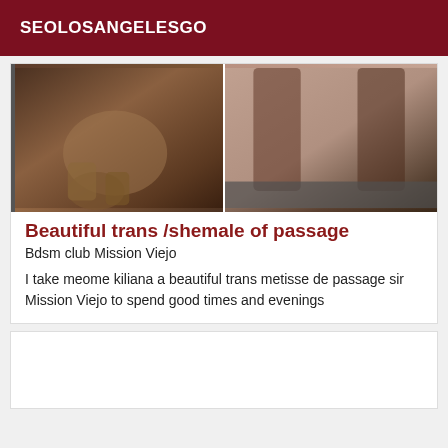SEOLOSANGELESGO
[Figure (photo): Two photos side by side showing legs/lower body of people in heels]
Beautiful trans /shemale of passage
Bdsm club Mission Viejo
I take meome kiliana a beautiful trans metisse de passage sir Mission Viejo to spend good times and evenings